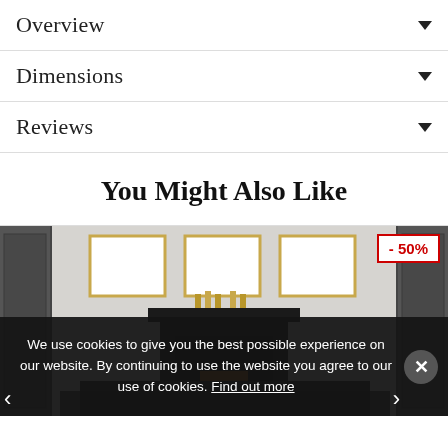Overview
Dimensions
Reviews
You Might Also Like
[Figure (photo): Interior room scene with a black fireplace, gold-framed pictures on the wall, and a discount badge showing -50% in the top right corner.]
We use cookies to give you the best possible experience on our website. By continuing to use the website you agree to our use of cookies. Find out more